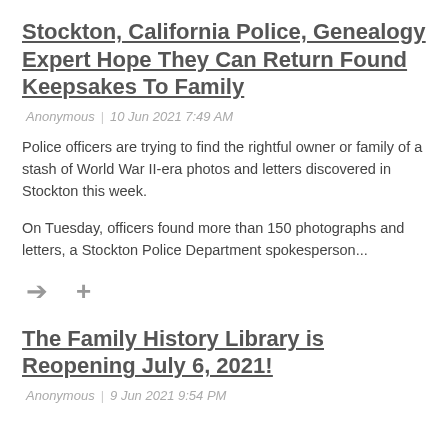Stockton, California Police, Genealogy Expert Hope They Can Return Found Keepsakes To Family
Anonymous  |  10 Jun 2021 7:49 AM
Police officers are trying to find the rightful owner or family of a stash of World War II-era photos and letters discovered in Stockton this week.
On Tuesday, officers found more than 150 photographs and letters, a Stockton Police Department spokesperson...
[Figure (other): Two icons: a right-pointing arrow and a plus sign]
The Family History Library is Reopening July 6, 2021!
Anonymous  |  9 Jun 2021 9:54 PM